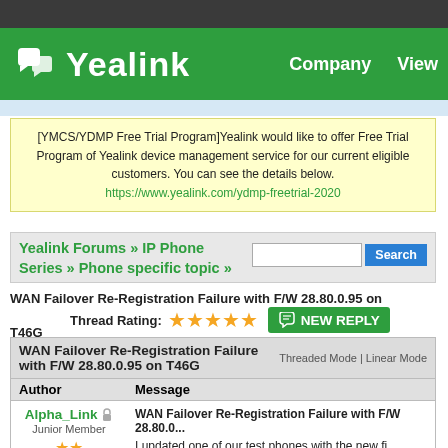Yealink  Company  View
[YMCS/YDMP Free Trial Program]Yealink would like to offer Free Trial Program of Yealink device management service for our current eligible customers. You can see the details below. https://www.yealink.com/ydmp-freetrial-2020
Yealink Forums » IP Phone Series » Phone specific topic »
WAN Failover Re-Registration Failure with F/W 28.80.0.95 on T46G
Thread Rating: ★★★★★  NEW REPLY
| Author | Message |
| --- | --- |
| Alpha_Link
Junior Member
★★ | WAN Failover Re-Registration Failure with F/W 28.80.0...
I updated one of our test phones with the new fi... supposedly includes the fix for a situation when a... |